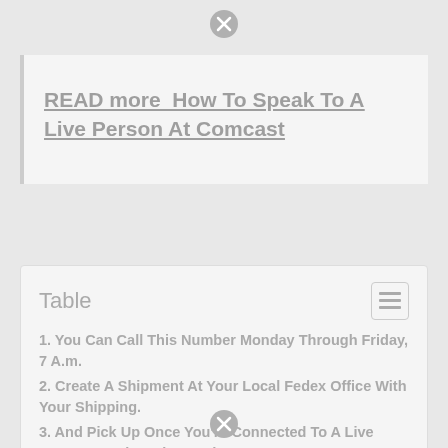[Figure (other): Close/dismiss button circle at top center]
READ more  How To Speak To A Live Person At Comcast
Table
1. You Can Call This Number Monday Through Friday, 7 A.m.
2. Create A Shipment At Your Local Fedex Office With Your Shipping.
3. And Pick Up Once You're Connected To A Live Person On The Other End.
4. How Do I Speak To Someone In Fedex?
5. I've Tried 10 Times From 3 Different Phone Numbers And Still Getting Told That.
6. Related posts:
[Figure (other): Close/dismiss button circle at bottom center]